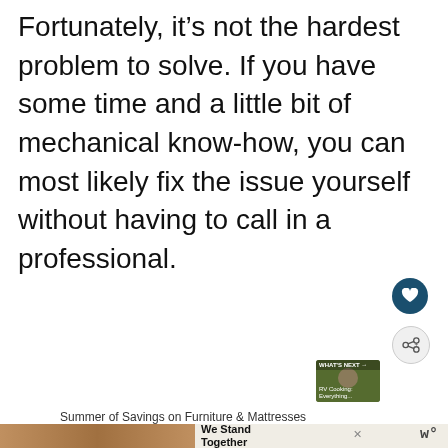Fortunately, it's not the hardest problem to solve. If you have some time and a little bit of mechanical know-how, you can most likely fix the issue yourself without having to call in a professional.
[Figure (screenshot): Advertisement for Bob's Furniture featuring 'Summer of Savings' text in orange script on teal background, with tagline 'Bob's everyday low prices beat their phony sale prices... everyday. Shop now!' and cartoon character wearing sunglasses. Below ad shows next video thumbnail 'RV Cooking: Everything...' with heart and share buttons.]
Summer of Savings on Furniture & Mattresses
[Figure (screenshot): Bottom banner advertisement with people and 'We Stand Together' text, with close X button and W logo.]